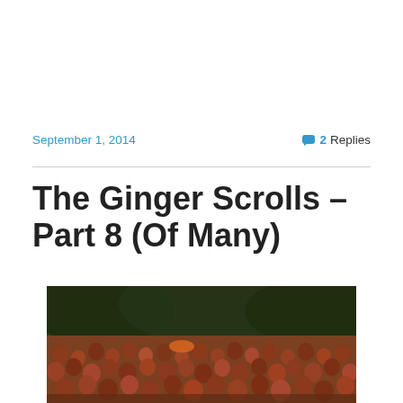September 1, 2014
2 Replies
The Ginger Scrolls – Part 8 (Of Many)
[Figure (photo): A large crowd of people with red hair gathered outdoors in a park-like setting with dark green trees in the background.]